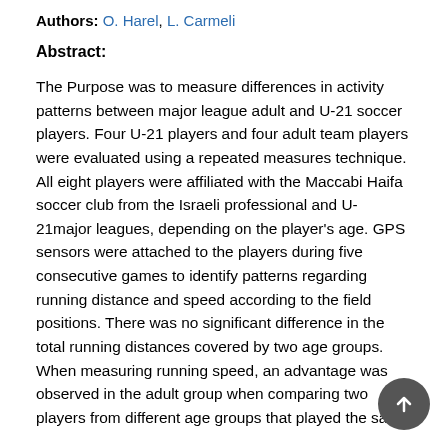Authors: O. Harel, L. Carmeli
Abstract:
The Purpose was to measure differences in activity patterns between major league adult and U-21 soccer players. Four U-21 players and four adult team players were evaluated using a repeated measures technique. All eight players were affiliated with the Maccabi Haifa soccer club from the Israeli professional and U-21major leagues, depending on the player's age. GPS sensors were attached to the players during five consecutive games to identify patterns regarding running distance and speed according to the field positions. There was no significant difference in the total running distances covered by two age groups. When measuring running speed, an advantage was observed in the adult group when comparing two players from different age groups that played the same